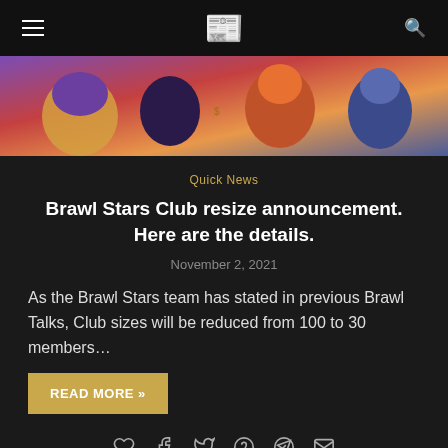≡ [newspaper icon] Q
[Figure (illustration): Brawl Stars game characters illustration banner — colorful cartoon characters including characters with mushroom hat, red-haired girl, and others on a colorful background]
Quick News
Brawl Stars Club resize announcement. Here are the details.
November 2, 2021
As the Brawl Stars team has stated in previous Brawl Talks, Club sizes will be reduced from 100 to 30 members…
READ MORE »